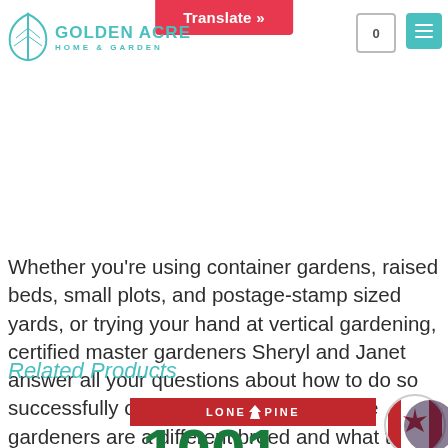Golden Acre Home & Garden — navigation bar with Translate button, cart (0), and menu
and edible flowers at … ntainer growing, as w… s … ur tiny ya… and to keep hanging baskets looking lush and full of blooms all summer.
Whether you're using container gardens, raised beds, small plots, and postage-stamp sized yards, or trying your hand at vertical gardening, certified master gardeners Sheryl and Janet answer all your questions about how to do so successfully on the prairies. Small-space gardeners are a different breed and what they create can be magic!
Related Products
[Figure (logo): Lone Pine publisher banner with red background and white text reading LONE PINE with a pine tree icon]
1001